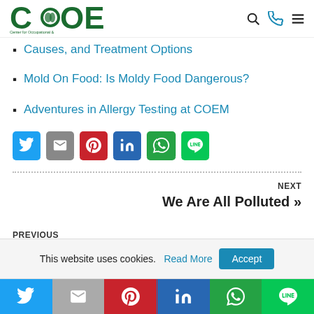Center for Occupational & Environmental Medicine — COEM
Causes, and Treatment Options
Mold On Food: Is Moldy Food Dangerous?
Adventures in Allergy Testing at COEM
[Figure (other): Social share buttons: Twitter, Email, Pinterest, LinkedIn, WhatsApp, Line]
NEXT
We Are All Polluted »
PREVIOUS
« Autism & Children with Special Needs
This website uses cookies. Read More Accept
[Figure (other): Bottom social share bar: Twitter, Email, Pinterest, LinkedIn, WhatsApp, Line]